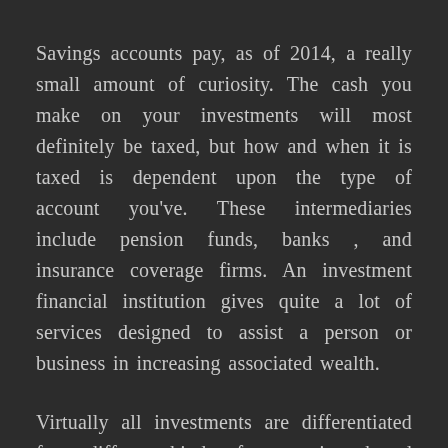Savings accounts pay, as of 2014, a really small amount of curiosity. The cash you make on your investments will most definitely be taxed, but how and when it is taxed is dependent upon the type of account you've. These intermediaries include pension funds, banks , and insurance coverage firms. An investment financial institution gives quite a lot of services designed to assist a person or business in increasing associated wealth.
Virtually all investments are differentiated from different kinds of transactions based on the goal of the cash spent. Portfolio administration services are offered by Charles